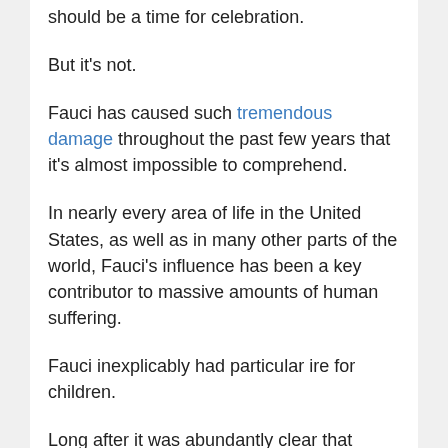should be a time for celebration.
But it's not.
Fauci has caused such tremendous damage throughout the past few years that it's almost impossible to comprehend.
In nearly every area of life in the United States, as well as in many other parts of the world, Fauci's influence has been a key contributor to massive amounts of human suffering.
Fauci inexplicably had particular ire for children.
Long after it was abundantly clear that closing schools had no significant health benefit, Fauci continued to support shutdowns and restrictions on normal life for millions of children at little to no risk from the virus.
His capacity for outright political advocacy and activism